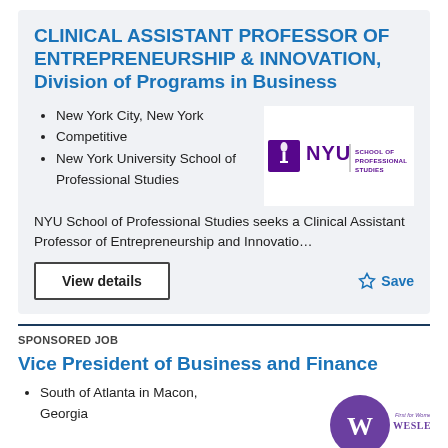CLINICAL ASSISTANT PROFESSOR OF ENTREPRENEURSHIP & INNOVATION, Division of Programs in Business
New York City, New York
Competitive
New York University School of Professional Studies
[Figure (logo): NYU School of Professional Studies logo — purple torch icon with NYU wordmark and SCHOOL OF PROFESSIONAL STUDIES text]
NYU School of Professional Studies seeks a Clinical Assistant Professor of Entrepreneurship and Innovatio…
View details
☆ Save
SPONSORED JOB
Vice President of Business and Finance
South of Atlanta in Macon, Georgia
[Figure (logo): Wesleyan College logo — circular purple logo with W emblem and 'First for Women WESLEYAN' text]